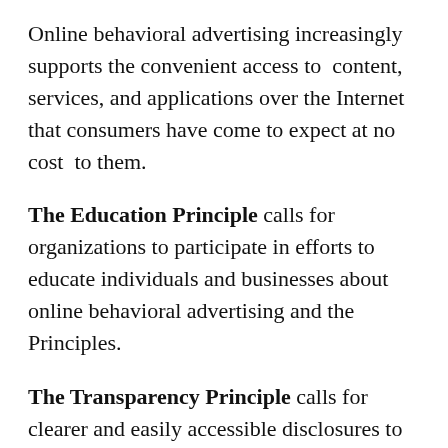Online behavioral advertising increasingly supports the convenient access to content, services, and applications over the Internet that consumers have come to expect at no cost to them.
The Education Principle calls for organizations to participate in efforts to educate individuals and businesses about online behavioral advertising and the Principles.
The Transparency Principle calls for clearer and easily accessible disclosures to consumers about data collection and use practices associated with online behavioral advertising. It will result in new, enhanced notice on the